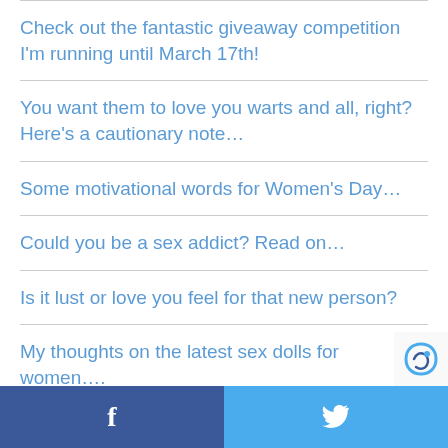Check out the fantastic giveaway competition I'm running until March 17th!
You want them to love you warts and all, right? Here's a cautionary note…
Some motivational words for Women's Day…
Could you be a sex addict? Read on…
Is it lust or love you feel for that new person?
My thoughts on the latest sex dolls for women….
Are you single and dating but carrying old…